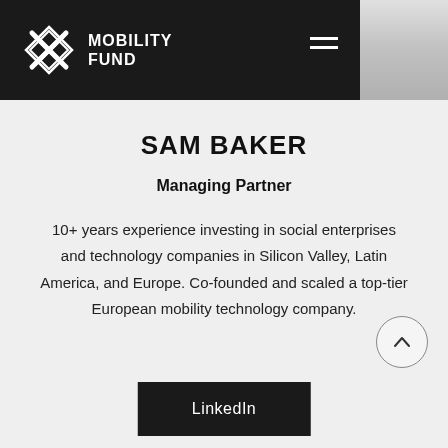[Figure (logo): Mobility Fund logo with stylized X graphic and text MOBILITY FUND on dark header bar]
SAM BAKER
Managing Partner
10+ years experience investing in social enterprises and technology companies in Silicon Valley, Latin America, and Europe. Co-founded and scaled a top-tier European mobility technology company.
LinkedIn